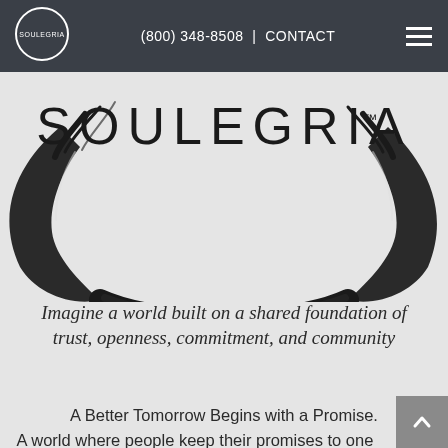(800) 348-8508 | CONTACT
[Figure (logo): Soulegria logo: circular enso brushstroke with 'SOULEGRIA' text in large letters and trademark symbol]
Imagine a world built on a shared foundation of trust, openness, commitment, and community
A Better Tomorrow Begins with a Promise.
A world where people keep their promises to one another